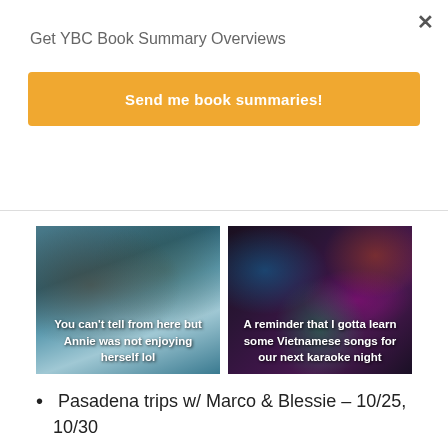Get YBC Book Summary Overviews
Send me book summaries!
[Figure (photo): Photo of people at a billiard/pool hall with face masks on, dark interior. Caption: 'You can't tell from here but Annie was not enjoying herself lol']
[Figure (photo): Dark photo of people at a karaoke night with colorful lights. Caption: 'A reminder that I gotta learn some Vietnamese songs for our next karaoke night']
Pasadena trips w/ Marco & Blessie – 10/25, 10/30
[Figure (photo): Outdoor street photo, partial view]
[Figure (photo): Outdoor photo of a person, partial view]